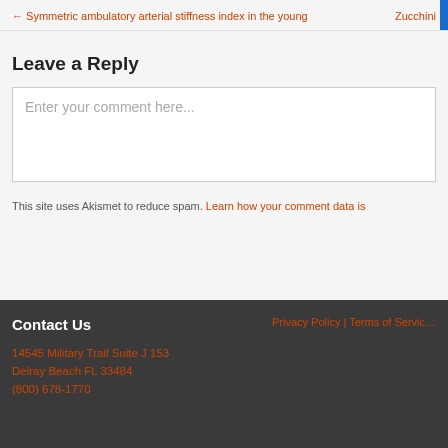← Symmetric ambulatory arterial stiffness index in the young    Zucchini…
Leave a Reply
Enter your comment here...
This site uses Akismet to reduce spam. Learn how your comment data is…
Contact Us    Privacy Policy | Terms of Service    14545 Military Trail Suite J 153    Delray Beach FL 33484    (800) 678-1770